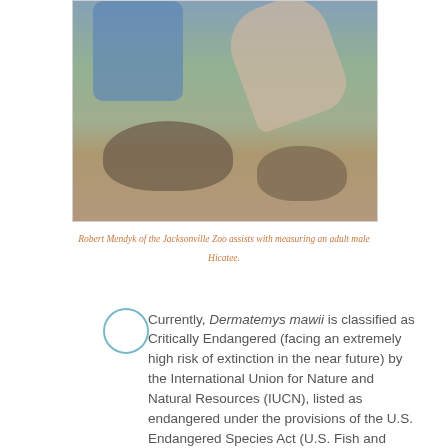[Figure (photo): Photo of a person (Robert Mendyk of the Jacksonville Zoo) assisting with measuring an adult male Hicatee turtle. The person is wearing a blue shirt and is handling the turtle with both hands visible.]
Robert Mendyk of the Jacksonville Zoo assists with measuring an adult male Hicatee.
Currently, Dermatemys mawii is classified as Critically Endangered (facing an extremely high risk of extinction in the near future) by the International Union for Nature and Natural Resources (IUCN), listed as endangered under the provisions of the U.S. Endangered Species Act (U.S. Fish and Wildlife Service), and listed on